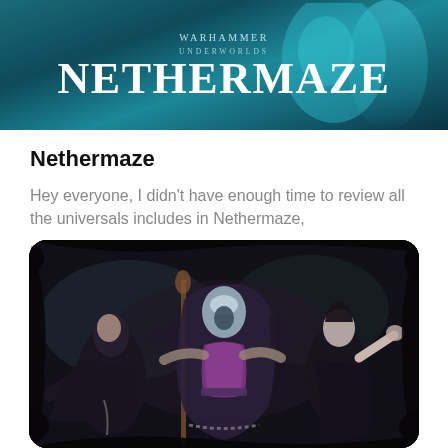[Figure (illustration): Warhammer Underworlds Nethermaze banner image with teal/dark blue background and fantasy figure, displaying the game logo text 'WARHAMMER UNDERWORLDS NETHERMAZE']
Nethermaze
Hey everyone, I didn't have enough time to review all the universals includes in Nethermaze,
Read More
[Figure (illustration): Dark fantasy illustration showing multiple female warrior figures in dark robes and chains against a dark background, with a central figure in purple corset]